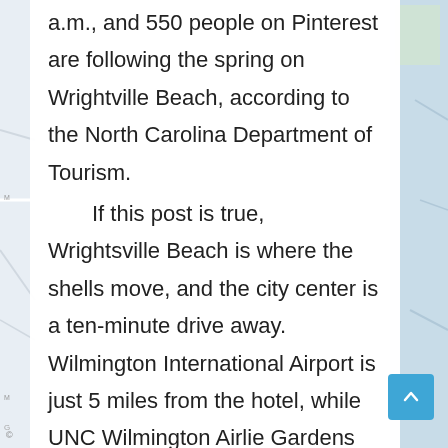a.m., and 550 people on Pinterest are following the spring on Wrightville Beach, according to the North Carolina Department of Tourism.

If this post is true, Wrightsville Beach is where the shells move, and the city center is a ten-minute drive away. Wilmington International Airport is just 5 miles from the hotel, while UNC Wilmington Airlie Gardens are within 5 minutes "drive. If you take the majority of the way there on the highway, you'll get there in less than an hour and a half, according to the North Carolina